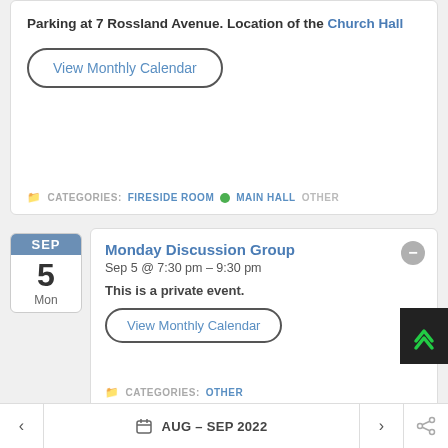Parking at 7 Rossland Avenue. Location of the Church Hall
View Monthly Calendar
CATEGORIES: FIRESIDE ROOM  MAIN HALL  OTHER
SEP 5 Mon
Monday Discussion Group
Sep 5 @ 7:30 pm – 9:30 pm
This is a private event.
View Monthly Calendar
CATEGORIES: OTHER
< AUG – SEP 2022 >